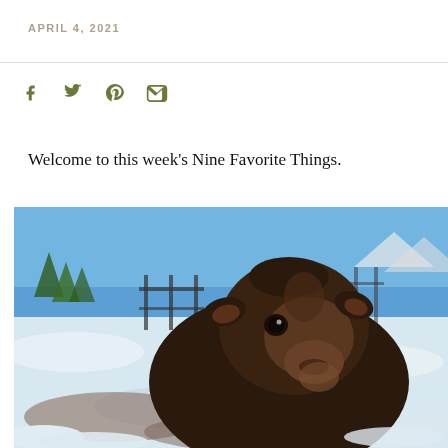APRIL 4, 2021
Welcome to this week's Nine Favorite Things.
[Figure (photo): Close-up photo of a baby goat (kid) looking at the camera. The goat has dark brown fur with lighter brown markings on its face. Background shows a snowy field/farm with metal fencing, evergreen trees, and a blue sky with mountains in the distance.]